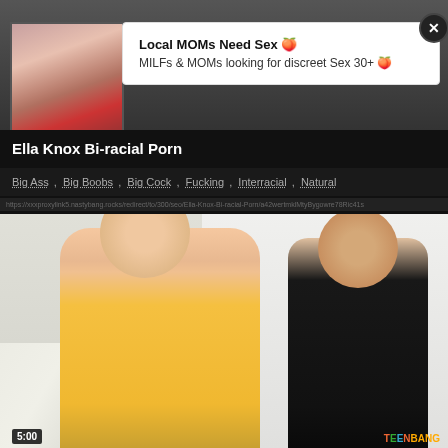[Figure (screenshot): Top video thumbnail showing content with timer badge '0:10' and '4K available' label, nastybang.com watermark]
[Figure (screenshot): Advertisement popup with close button (X), title 'Local MOMs Need Sex' and subtitle 'MILFs & MOMs looking for discreet Sex 30+']
Ella Knox Bi-racial Porn
Big Ass ,  Big Boobs ,  Big Cock ,  Fucking ,  Interracial ,  Natural
URL bar with tracking URL
[Figure (screenshot): Bottom video thumbnail showing two people in a kitchen scene, timer '5:00', TeenBang logo]